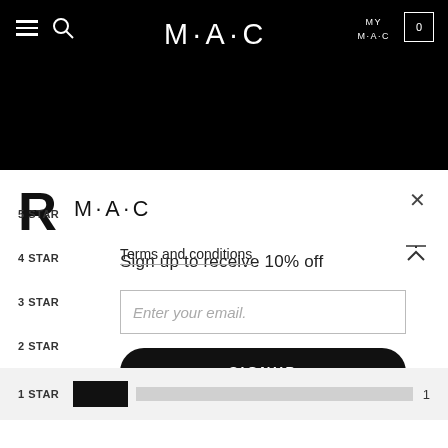[Figure (screenshot): MAC Cosmetics website navigation bar in black with hamburger menu, search icon, MAC logo in center, MY M·A·C text and cart icon on right]
[Figure (screenshot): MAC Cosmetics email signup modal popup with large R letter, MAC logo, close X button, 'Sign up to receive 10% off' text, email input field, SIGNUP button, and Terms and conditions link]
Sign up to receive 10% off
Enter your email.
SIGNUP
Terms and conditions
5 STAR
4 STAR
3 STAR
2 STAR
1 STAR
1